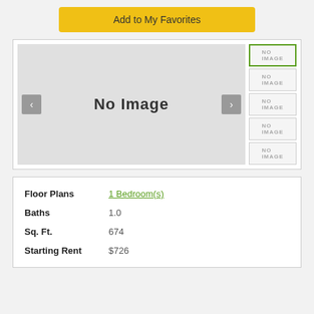[Figure (screenshot): Yellow 'Add to My Favorites' button]
[Figure (screenshot): Image gallery with 'No Image' placeholder and 5 thumbnail slots on the right, the first one highlighted with a green border. Left and right navigation arrows visible.]
| Floor Plans | 1 Bedroom(s) |
| Baths | 1.0 |
| Sq. Ft. | 674 |
| Starting Rent | $726 |